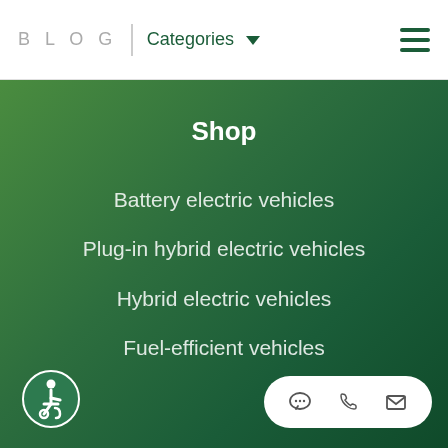BLOG | Categories
Shop
Battery electric vehicles
Plug-in hybrid electric vehicles
Hybrid electric vehicles
Fuel-efficient vehicles
[Figure (other): Accessibility icon - wheelchair symbol in white circle on green background]
[Figure (other): Contact bar with chat bubble, phone, and email icons on white pill-shaped background]